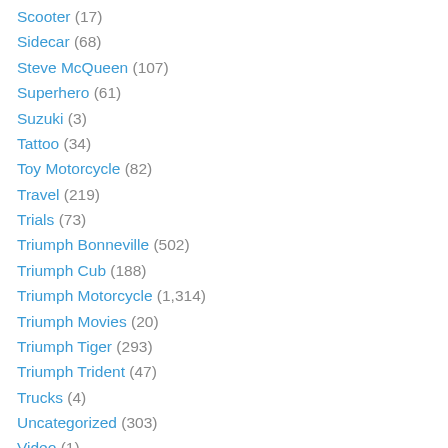Scooter (17)
Sidecar (68)
Steve McQueen (107)
Superhero (61)
Suzuki (3)
Tattoo (34)
Toy Motorcycle (82)
Travel (219)
Trials (73)
Triumph Bonneville (502)
Triumph Cub (188)
Triumph Motorcycle (1,314)
Triumph Movies (20)
Triumph Tiger (293)
Triumph Trident (47)
Trucks (4)
Uncategorized (303)
Video (1)
Vincent (49)
Vintage (107)